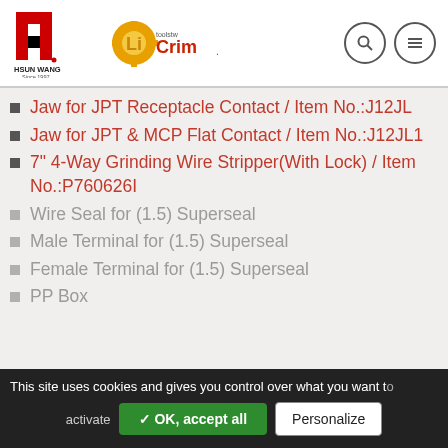[Figure (logo): Hsun Wang logo (red and black H bracket symbol with 'HSUN WANG Since 1997' text) and LiCrim toolstw logo (yellow/orange gear symbol with red and dark text)]
Jaw for JPT Receptacle Contact / Item No.:J12JL
Jaw for JPT & MCP Flat Contact / Item No.:J12JL1
7" 4-Way Grinding Wire Stripper(With Lock) / Item No.:P760626I
Wire Seal for (1.5) Superseal
Male Terminal for (1.5) Superseal
Female Terminal for (1.5) Superseal
PP Box
This site uses cookies and gives you control over what you want to activate
✓ OK, accept all | Personalize